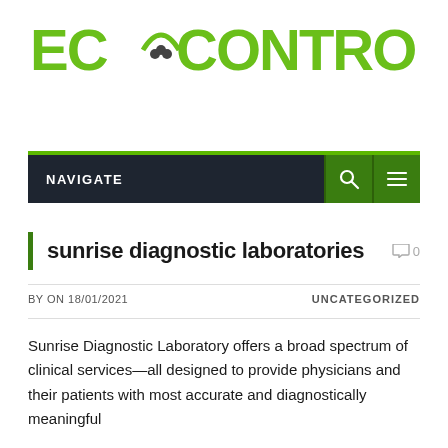[Figure (logo): ECOCONTROLE logo in green with stylized icon in the middle]
NAVIGATE
sunrise diagnostic laboratories
BY ON 18/01/2021   UNCATEGORIZED
Sunrise Diagnostic Laboratory offers a broad spectrum of clinical services—all designed to provide physicians and their patients with most accurate and diagnostically meaningful